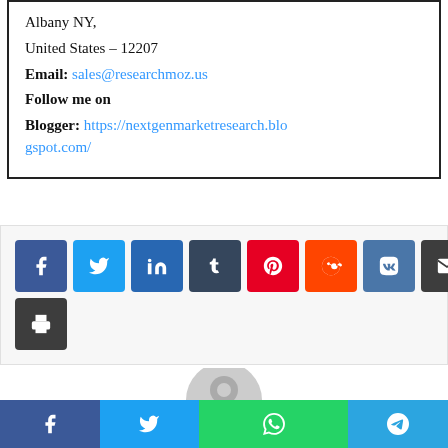Albany NY,
United States – 12207
Email: sales@researchmoz.us
Follow me on
Blogger: https://nextgenmarketresearch.blogspot.com/
[Figure (infographic): Social media share buttons: Facebook, Twitter, LinkedIn, Tumblr, Pinterest, Reddit, VK, Email, Print]
[Figure (photo): Generic user avatar (gray circle with person silhouette)]
[Figure (infographic): Bottom share bar with Facebook, Twitter, WhatsApp, Telegram icons]